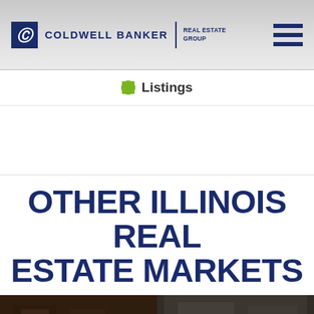[Figure (logo): Coldwell Banker Real Estate Group logo with CB monogram icon in dark blue square, company name in dark blue bold text, vertical divider, and REAL ESTATE GROUP text]
[Figure (other): Hamburger menu icon — three horizontal dark blue bars]
Listings
OTHER ILLINOIS REAL ESTATE MARKETS
[Figure (photo): Dark interior room photo on the left side, showing dimly lit room with framed artwork on walls]
[Figure (photo): Dark interior photo on the right side, lighter room with an email/envelope icon button in lower right corner]